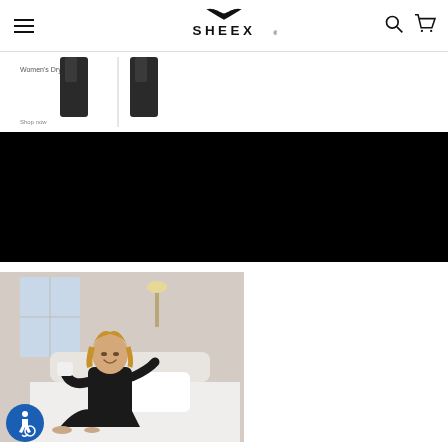SHEEX website header with hamburger menu, SHEEX logo, search and cart icons
[Figure (photo): Product thumbnails showing dark pants/leggings apparel against white background]
[Figure (photo): Large black/dark banner background image]
[Figure (photo): Lifestyle photo of a woman in black SHEEX sleepwear sitting on a bed holding a white mug, smiling]
[Figure (logo): Accessibility wheelchair icon badge in blue circle]